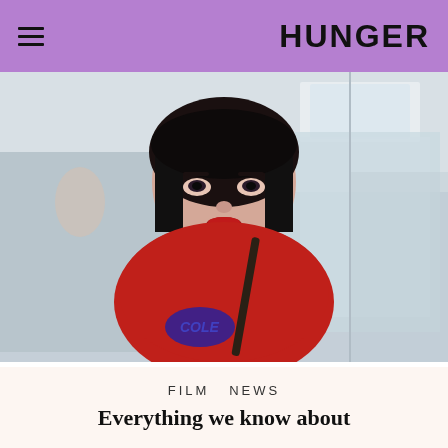HUNGER
[Figure (photo): Young woman with dark bob haircut wearing a red mesh top with choker collar and crossbody bag, photographed in what appears to be a shopping mall setting]
FILM  NEWS
Everything we know about